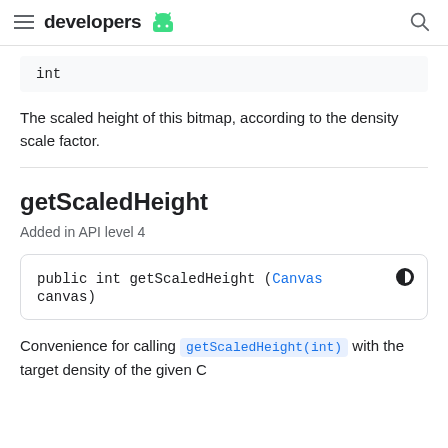developers [android logo]
| int |
The scaled height of this bitmap, according to the density scale factor.
getScaledHeight
Added in API level 4
public int getScaledHeight (Canvas canvas)
Convenience for calling getScaledHeight(int) with the target density of the given C...